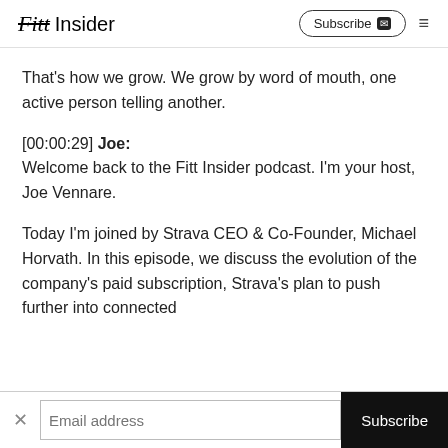Fitt Insider  Subscribe  ☰
That's how we grow. We grow by word of mouth, one active person telling another.
[00:00:29] Joe: Welcome back to the Fitt Insider podcast. I'm your host, Joe Vennare.
Today I'm joined by Strava CEO & Co-Founder, Michael Horvath. In this episode, we discuss the evolution of the company's paid subscription, Strava's plan to push further into connected
Email address  Subscribe